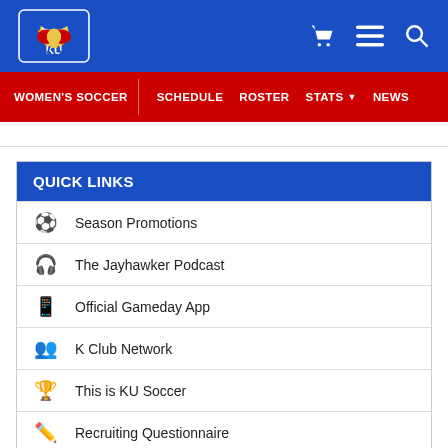KU Athletics Header with logo and navigation icons
WOMEN'S SOCCER | SCHEDULE | ROSTER | STATS | NEWS
QUICK LINKS
Season Promotions
The Jayhawker Podcast
Official Gameday App
K Club Network
This is KU Soccer
Recruiting Questionnaire
Soccer Camps